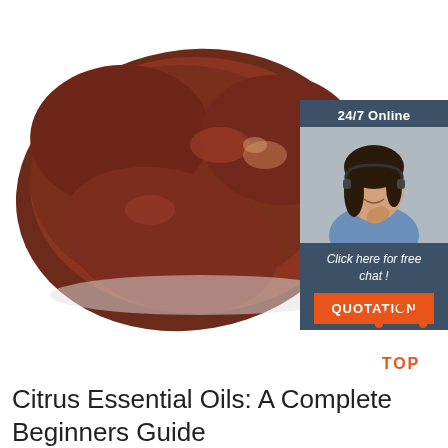[Figure (photo): Raw animal liver (dark reddish-brown, glossy) on a white background, photographed from above at a slight angle.]
[Figure (infographic): Customer service chat widget with dark blue background. Shows '24/7 Online' heading, photo of a smiling woman wearing a headset, italic text 'Click here for free chat !', and an orange button labeled 'QUOTATION'.]
[Figure (illustration): Orange 'TOP' icon with dotted arch above the text, indicating a back-to-top navigation element.]
Citrus Essential Oils: A Complete Beginners Guide